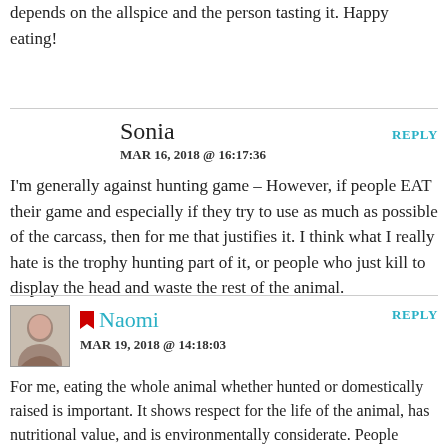depends on the allspice and the person tasting it. Happy eating!
Sonia
MAR 16, 2018 @ 16:17:36
I'm generally against hunting game – However, if people EAT their game and especially if they try to use as much as possible of the carcass, then for me that justifies it. I think what I really hate is the trophy hunting part of it, or people who just kill to display the head and waste the rest of the animal.
Naomi
MAR 19, 2018 @ 14:18:03
For me, eating the whole animal whether hunted or domestically raised is important. It shows respect for the life of the animal, has nutritional value, and is environmentally considerate. People sometimes have an image of hunters as rich trophy hunters who are